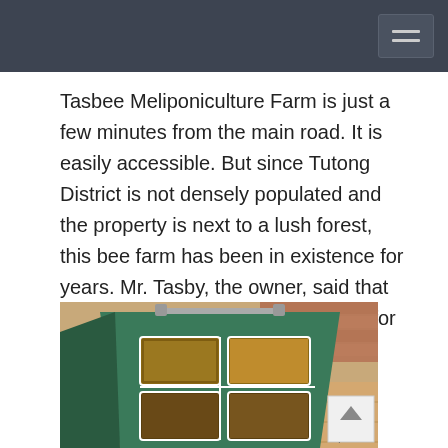Tasbee Meliponiculture Farm is just a few minutes from the main road. It is easily accessible. But since Tutong District is not densely populated and the property is next to a lush forest, this bee farm has been in existence for years. Mr. Tasby, the owner, said that he has been keeoing this bee farm for 15 years out of hobby.
[Figure (photo): A green wooden beehive display box with transparent viewing panels showing honeycomb frames, placed on a tiled surface near a brick wall.]